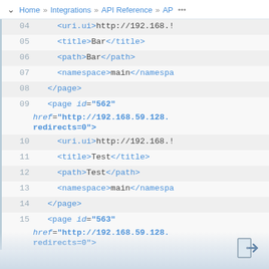Home » Integrations » API Reference » AP ...
04    <uri.ui>http://192.168.!
05    <title>Bar</title>
06    <path>Bar</path>
07    <namespace>main</namespace
08    </page>
09    <page id="562" href="http://192.168.59.128. redirects=0">
10    <uri.ui>http://192.168.!
11    <title>Test</title>
12    <path>Test</path>
13    <namespace>main</namespa
14    </page>
15    <page id="563" href="http://192.168.59.128. redirects=0">